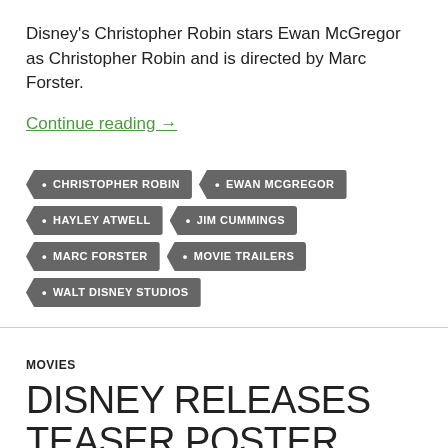Disney's Christopher Robin stars Ewan McGregor as Christopher Robin and is directed by Marc Forster.
Continue reading →
CHRISTOPHER ROBIN
EWAN MCGREGOR
HAYLEY ATWELL
JIM CUMMINGS
MARC FORSTER
MOVIE TRAILERS
WALT DISNEY STUDIOS
MOVIES
DISNEY RELEASES TEASER POSTER AHEAD OF TRAILER FOR CHRISTOPHER ROBIN!